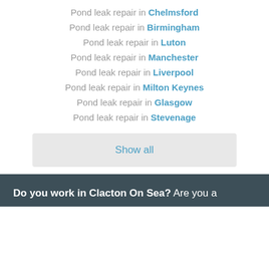Pond leak repair in Chelmsford
Pond leak repair in Birmingham
Pond leak repair in Luton
Pond leak repair in Manchester
Pond leak repair in Liverpool
Pond leak repair in Milton Keynes
Pond leak repair in Glasgow
Pond leak repair in Stevenage
Show all
Do you work in Clacton On Sea? Are you a